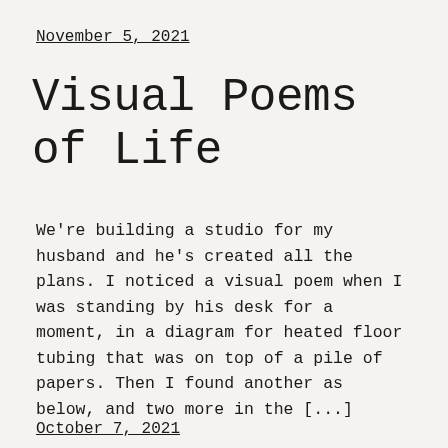November 5, 2021
Visual Poems of Life
We're building a studio for my husband and he's created all the plans. I noticed a visual poem when I was standing by his desk for a moment, in a diagram for heated floor tubing that was on top of a pile of papers. Then I found another as below, and two more in the [...]
October 7, 2021